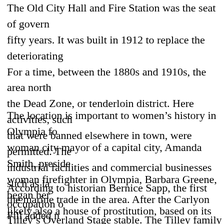The Old City Hall and Fire Station was the seat of government for fifty years. It was built in 1912 to replace the deteriorating For a time, between the 1880s and 1910s, the area north the Dead Zone, or tenderloin district. Here activities, such that were banned elsewhere in town, were permitted. The industrial facilities and commercial businesses such as la the marine trade in the area. After the Carlyon Fill added property north of State Avenue, this area was gradually tr area.
The location is important to women's history in Olympia fo woman city mayor of a capital city, Amanda Smith, preside woman firefighter in Olympia, Barbara Greene, began her likely also a house of prostitution, based on its designation (initials F.B.) in early maps (see Sanborn overlays for map
According to historian Bernice Sapp, the first occupation o Tilley's Overland Stage stable. The Tilley family operated line, but Moses Tilley's father, Abram, operated a popular